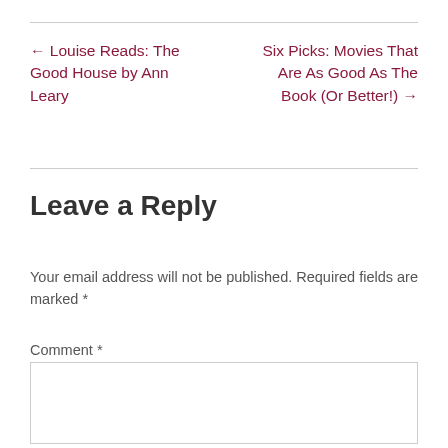← Louise Reads: The Good House by Ann Leary
Six Picks: Movies That Are As Good As The Book (Or Better!) →
Leave a Reply
Your email address will not be published. Required fields are marked *
Comment *